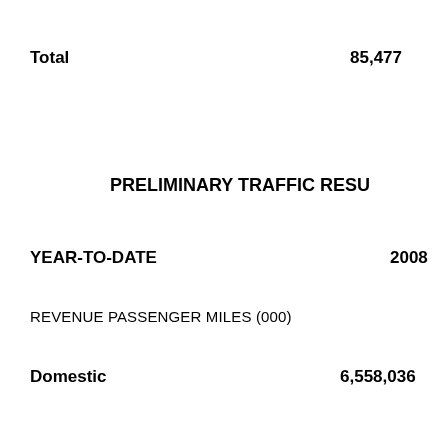Total    85,477
PRELIMINARY TRAFFIC RESU
YEAR-TO-DATE    2008
REVENUE PASSENGER MILES (000)
Domestic    6,558,036    6,